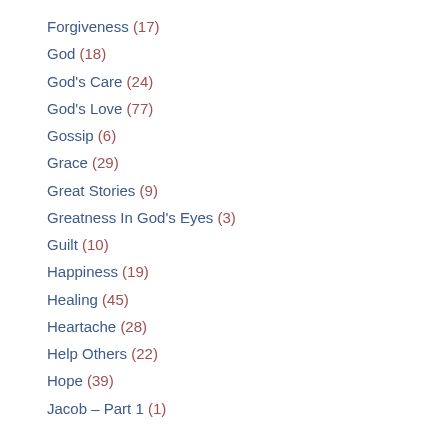Forgiveness (17)
God (18)
God's Care (24)
God's Love (77)
Gossip (6)
Grace (29)
Great Stories (9)
Greatness In God's Eyes (3)
Guilt (10)
Happiness (19)
Healing (45)
Heartache (28)
Help Others (22)
Hope (39)
Jacob – Part 1 (1)